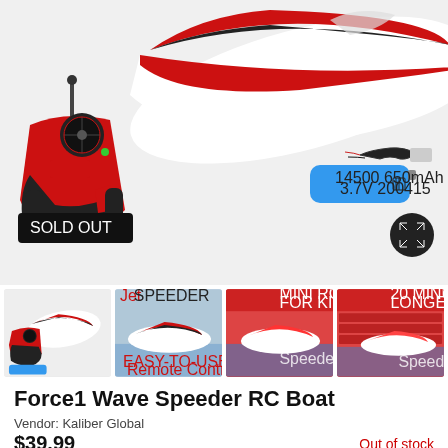[Figure (photo): RC boat (red and white jet ski style), radio controller (red/black), and blue lithium battery (14500 650mAh 3.7V 200415). SOLD OUT badge visible on the main product image. Expand/zoom button in bottom right corner.]
[Figure (photo): Row of 4 product thumbnail images: 1) RC boat with controller and battery, 2) RC boat on water with JetSpeeder branding and EASY-TO-USE Remote Control text, 3) MINI RC BOAT FOR KIDS AND ADULTS label with boat on water, 4) 20 MINUTE BATTERY LONGER LASTING RUN label with boat]
Force1 Wave Speeder RC Boat
Vendor: Kaliber Global
$39.99
Out of stock